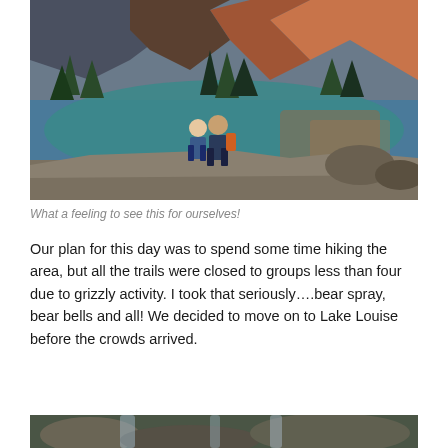[Figure (photo): Two hikers standing on rocky ledge with a stunning turquoise mountain lake and orange-tinted rocky mountains reflected in the water below, surrounded by pine trees at dusk or dawn.]
What a feeling to see this for ourselves!
Our plan for this day was to spend some time hiking the area, but all the trails were closed to groups less than four due to grizzly activity. I took that seriously….bear spray, bear bells and all! We decided to move on to Lake Louise before the crowds arrived.
[Figure (photo): Partial view of a waterfall or rocky mountain stream scene, cropped at bottom of page.]